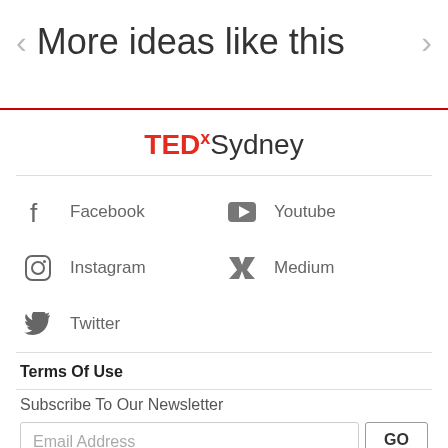More ideas like this
[Figure (logo): TEDxSydney logo with TED in red and Sydney in black]
Facebook
Youtube
Instagram
Medium
Twitter
Terms Of Use
Subscribe To Our Newsletter
Email Address